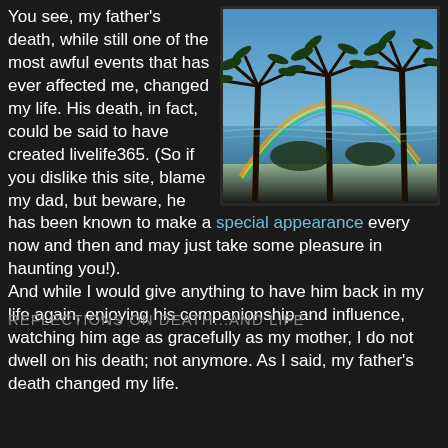You see, my father's death, while still one of the most awful events that has ever affected me, changed my life. His death, in fact, could be said to have created livelife365. (So if you dislike this site, blame my dad, but beware, he has been known to make a special appearance every now and then and may just take some pleasure in haunting you!). And while I would give anything to have him back in my life again, enjoying his companionship and influence, watching him age as gracefully as my mother, I do not dwell on his death; not anymore. As I said, my father's death changed my life.
[Figure (photo): Tropical beach scene with palm trees silhouetted against a blue sky, ocean in the background, and a rainbow arching above the horizon.]
REFLECTIONS ON DEATH...AND LIFE